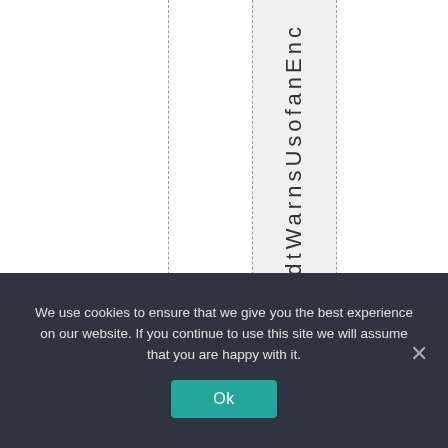midtWarnsUsofanEnc
We use cookies to ensure that we give you the best experience on our website. If you continue to use this site we will assume that you are happy with it. Ok